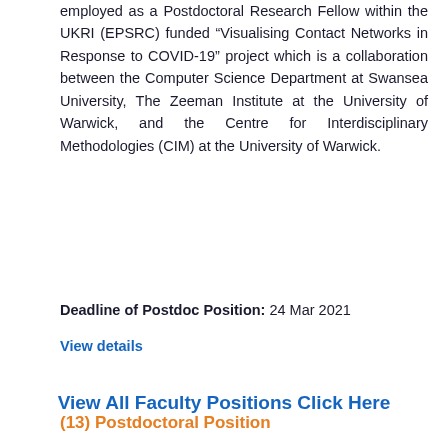employed as a Postdoctoral Research Fellow within the UKRI (EPSRC) funded “Visualising Contact Networks in Response to COVID-19” project which is a collaboration between the Computer Science Department at Swansea University, The Zeeman Institute at the University of Warwick, and the Centre for Interdisciplinary Methodologies (CIM) at the University of Warwick.
Deadline of Postdoc Position: 24 Mar 2021
View details
View All Faculty Positions Click Here
(13) Postdoctoral Position